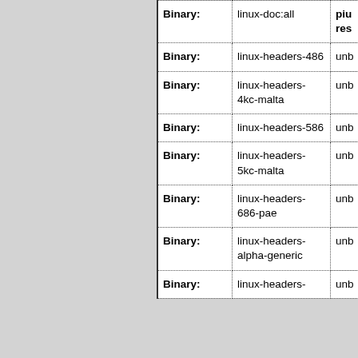| Type | Package | Info |
| --- | --- | --- |
| Binary: | linux-doc:all | piu
res |
| Binary: | linux-headers-486 | unb |
| Binary: | linux-headers-4kc-malta | unb |
| Binary: | linux-headers-586 | unb |
| Binary: | linux-headers-5kc-malta | unb |
| Binary: | linux-headers-686-pae | unb |
| Binary: | linux-headers-alpha-generic | unb |
| Binary: | linux-headers-... | unb |